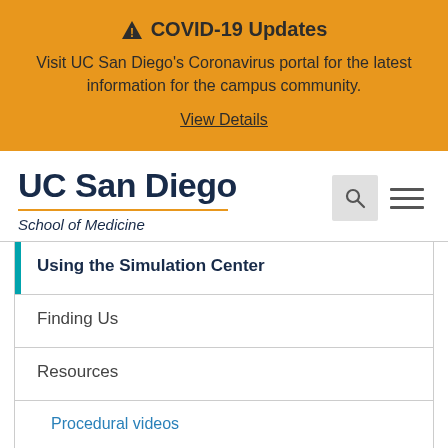⚠ COVID-19 Updates
Visit UC San Diego's Coronavirus portal for the latest information for the campus community.
View Details
[Figure (logo): UC San Diego School of Medicine logo with gold underline]
[Figure (other): Search icon button and hamburger menu icon]
Using the Simulation Center
Finding Us
Resources
Procedural videos